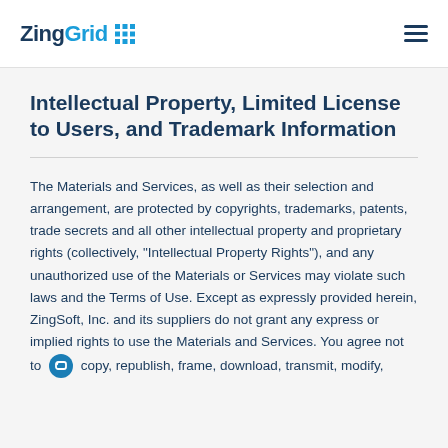ZingGrid [logo] [hamburger menu]
Intellectual Property, Limited License to Users, and Trademark Information
The Materials and Services, as well as their selection and arrangement, are protected by copyrights, trademarks, patents, trade secrets and all other intellectual property and proprietary rights (collectively, "Intellectual Property Rights"), and any unauthorized use of the Materials or Services may violate such laws and the Terms of Use. Except as expressly provided herein, ZingSoft, Inc. and its suppliers do not grant any express or implied rights to use the Materials and Services. You agree not to copy, republish, frame, download, transmit, modify,